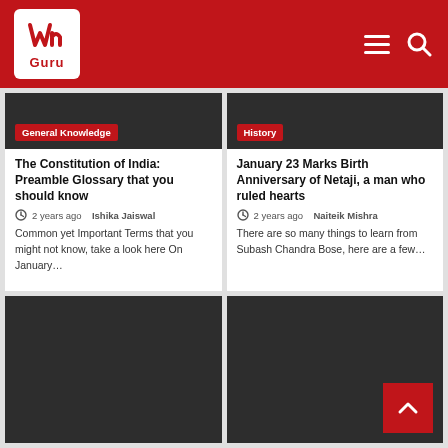WN Guru
[Figure (screenshot): Dark image placeholder for General Knowledge article]
General Knowledge
The Constitution of India: Preamble Glossary that you should know
2 years ago  Ishika Jaiswal
Common yet Important Terms that you might not know, take a look here On January…
[Figure (screenshot): Dark image placeholder for History article]
History
January 23 Marks Birth Anniversary of Netaji, a man who ruled hearts
2 years ago  Naiteik Mishra
There are so many things to learn from Subash Chandra Bose, here are a few…
[Figure (screenshot): Dark image placeholder for bottom left article]
[Figure (screenshot): Dark image placeholder for bottom right article]